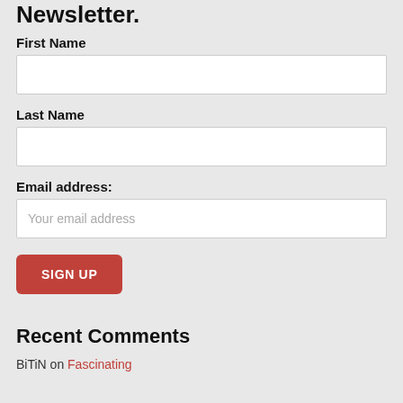Newsletter.
First Name
Last Name
Email address:
SIGN UP
Recent Comments
BiTiN on Fascinating